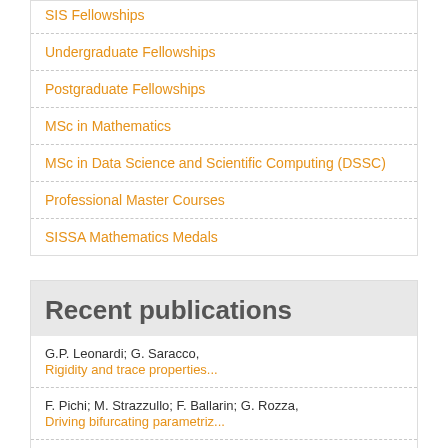SIS Fellowships
Undergraduate Fellowships
Postgraduate Fellowships
MSc in Mathematics
MSc in Data Science and Scientific Computing (DSSC)
Professional Master Courses
SISSA Mathematics Medals
Recent publications
G.P. Leonardi; G. Saracco,
Rigidity and trace properties...
F. Pichi; M. Strazzullo; F. Ballarin; G. Rozza,
Driving bifurcating parametriz...
M.W. ...